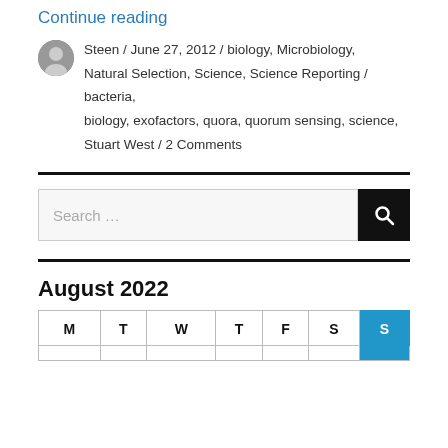Continue reading
Steen / June 27, 2012 / biology, Microbiology, Natural Selection, Science, Science Reporting / bacteria, biology, exofactors, quora, quorum sensing, science, Stuart West / 2 Comments
Search …
August 2022
| M | T | W | T | F | S | S |
| --- | --- | --- | --- | --- | --- | --- |
|  |  |  |  |  |  |  |